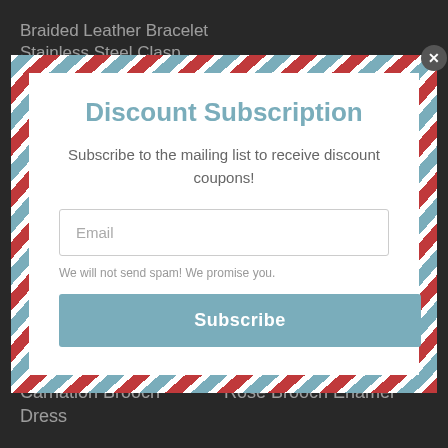Braided Leather Bracelet Stainless Steel Clasp
$49.78
Mouth Face Mask Anti Dust Germs Filter Disposable
$285.77 $57.15
[Figure (screenshot): Discount Subscription modal popup with striped airmail border, email input field, and Subscribe button]
Discount Subscription
Subscribe to the mailing list to receive discount coupons!
Email
We will not send spam! We promise you.
Subscribe
ALL PRODUCTS
Carnation Brooch Dress
ALL JEWELRY
Rose Brooch Enamel